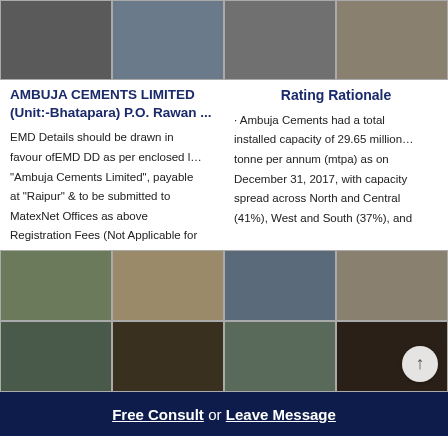[Figure (photo): Top row of industrial cement plant and mining site photos, split into left and right columns]
AMBUJA CEMENTS LIMITED (Unit:-Bhatapara) P.O. Rawan ...
Rating Rationale
EMD Details should be drawn in favour ofEMD DD as per enclosed l... "Ambuja Cements Limited", payable at "Raipur" & to be submitted to MatexNet Offices as above Registration Fees (Not Applicable for
· Ambuja Cements had a total installed capacity of 29.65 million… tonne per annum (mtpa) as on December 31, 2017, with capacity spread across North and Central (41%), West and South (37%), and
[Figure (photo): Bottom row of industrial cement plant and mining operations photos, split into left and right columns]
Free Consult  or  Leave Message